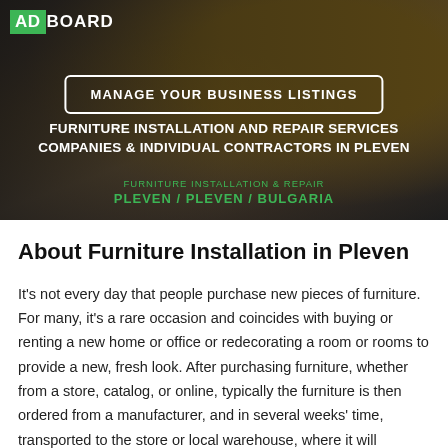[Figure (photo): Hero banner with a dark overlay over a furniture workshop/warehouse photo background. Contains the ADBOARD logo, a 'MANAGE YOUR BUSINESS LISTINGS' button, a title about furniture installation services in Pleven, and a green breadcrumb subtitle.]
About Furniture Installation in Pleven
It's not every day that people purchase new pieces of furniture. For many, it's a rare occasion and coincides with buying or renting a new home or office or redecorating a room or rooms to provide a new, fresh look. After purchasing furniture, whether from a store, catalog, or online, typically the furniture is then ordered from a manufacturer, and in several weeks' time, transported to the store or local warehouse, where it will